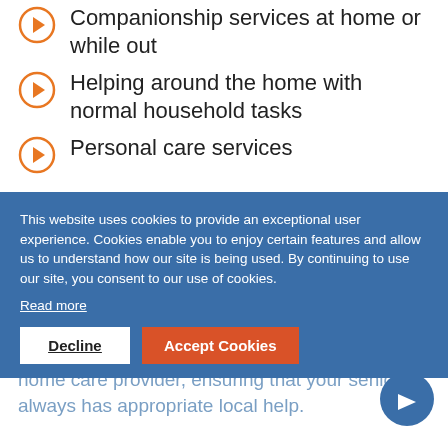Companionship services at home or while out
Helping around the home with normal household tasks
Personal care services
As a relative, you can be the best judge about what the senior in your life needs. Sometimes there is just a need to fulfil a companionship role, especially after the loss of a loved one. Other times, the senior may need a little extra help. Plus, the elderly and more vulnerable members of the community can also be assisted by a home care provider, ensuring that your senior always has appropriate local help.
This website uses cookies to provide an exceptional user experience. Cookies enable you to enjoy certain features and allow us to understand how our site is being used. By continuing to use our site, you consent to our use of cookies.
Read more
Decline  Accept Cookies